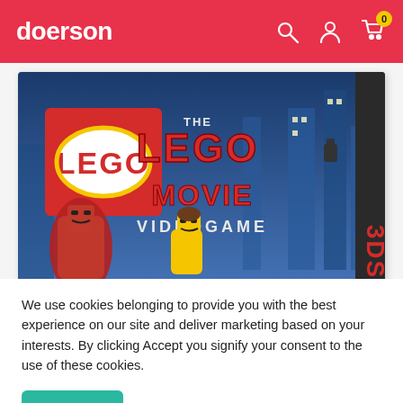doerson
[Figure (screenshot): The LEGO Movie Videogame for Nintendo 3DS game box art, showing LEGO characters and the game title]
We use cookies belonging to provide you with the best experience on our site and deliver marketing based on your interests. By clicking Accept you signify your consent to the use of these cookies.
Accept
[Figure (screenshot): Bottom strip showing partial product thumbnails]